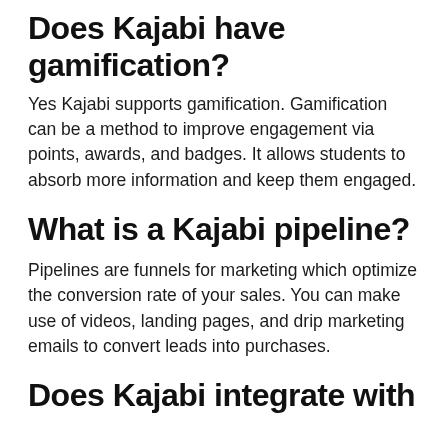Does Kajabi have gamification?
Yes Kajabi supports gamification. Gamification can be a method to improve engagement via points, awards, and badges. It allows students to absorb more information and keep them engaged.
What is a Kajabi pipeline?
Pipelines are funnels for marketing which optimize the conversion rate of your sales. You can make use of videos, landing pages, and drip marketing emails to convert leads into purchases.
Does Kajabi integrate with